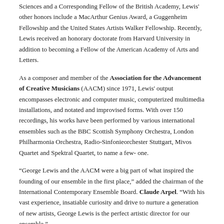Sciences and a Corresponding Fellow of the British Academy, Lewis' other honors include a MacArthur Genius Award, a Guggenheim Fellowship and the United States Artists Walker Fellowship. Recently, Lewis received an honorary doctorate from Harvard University in addition to becoming a Fellow of the American Academy of Arts and Letters.
As a composer and member of the Association for the Advancement of Creative Musicians (AACM) since 1971, Lewis' output encompasses electronic and computer music, computerized multimedia installations, and notated and improvised forms. With over 150 recordings, his works have been performed by various international ensembles such as the BBC Scottish Symphony Orchestra, London Philharmonia Orchestra, Radio-Sinfonieorchester Stuttgart, Mivos Quartet and Spektral Quartet, to name a few- one.
“George Lewis and the AACM were a big part of what inspired the founding of our ensemble in the first place,” added the chairman of the International Contemporary Ensemble Board. Claude Arpel. “With his vast experience, insatiable curiosity and drive to nurture a generation of new artists, George Lewis is the perfect artistic director for our ensemble.”